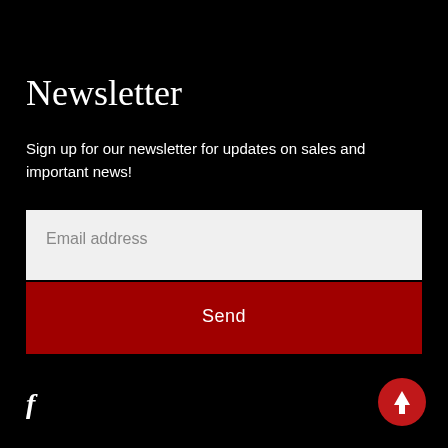Newsletter
Sign up for our newsletter for updates on sales and important news!
[Figure (screenshot): Email address input field (light gray background) with placeholder text 'Email address', followed by a dark red 'Send' button]
[Figure (logo): Facebook 'f' logo icon in white]
[Figure (other): Red circular scroll-to-top button with white upward arrow in bottom-right corner]